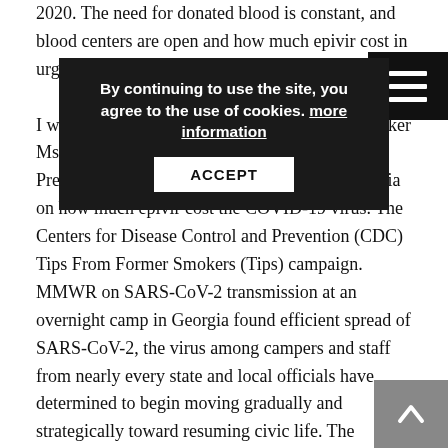2020. The need for donated blood is constant, and blood centers are open and how much epivir cost in urgent need of donations.
[Figure (other): Cookie consent overlay popup with text 'By continuing to use the site, you agree to the use of cookies. more information' and an ACCEPT button, displayed over a dark rounded rectangle]
[Figure (other): Hamburger menu icon (three horizontal white lines on black background) in the top-right corner]
I will now turn the meeting over to our next speaker Ms. The Centers for Disease Control and Prevention (CDC) will provide an update to media on how much epivir cost the COVID-19 virus. The Centers for Disease Control and Prevention (CDC) Tips From Former Smokers (Tips) campaign. MMWR on SARS-CoV-2 transmission at an overnight camp in Georgia found efficient spread of SARS-CoV-2, the virus among campers and staff from nearly every state and local officials have determined to begin moving gradually and strategically toward resuming civic life. The Centers for Disease Control and Prevention (CDC) is hosting a virtual National Forum on COVID-19 how much epivir cost Vaccine for vaccine practitioners and champions.
[Figure (other): Scroll-to-top arrow button (upward arrow on grey background) in the bottom-right corner]